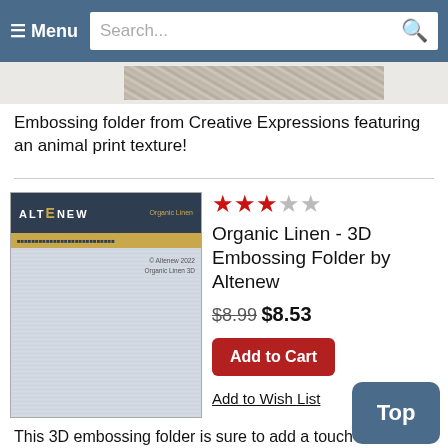≡ Menu  Search...
[Figure (photo): Partial product image strip showing an embossed/textured pattern]
Embossing folder from Creative Expressions featuring an animal print texture!
[Figure (photo): Altenew Organic Linen 3D Embossing Folder product thumbnail with dark header and linen texture pattern]
★★★☆☆ Organic Linen - 3D Embossing Folder by Altenew
$8.99 $8.53
Add to Cart
Add to Wish List
This 3D embossing folder is sure to add a touch of natural elegance to your next project!
It has been designed to mimic the look of wove... This texture will make the perfect backdrop be... your favorite stamped elements, dies, and embellishments. We can't wait to see what you create!